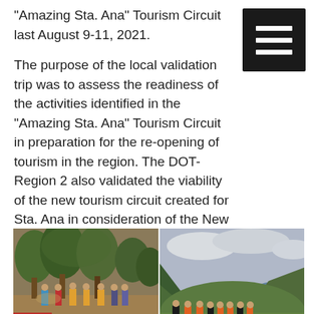“Amazing Sta. Ana” Tourism Circuit last August 9-11, 2021.
The purpose of the local validation trip was to assess the readiness of the activities identified in the “Amazing Sta. Ana” Tourism Circuit in preparation for the re-opening of tourism in the region. The DOT-Region 2 also validated the viability of the new tourism circuit created for Sta. Ana in consideration of the New Normal scenario.
[Figure (photo): Two side-by-side photos: left shows a group of people standing among trees in a forested/garden area; right shows a group of people sitting on a grassy hillside overlooking water and mountains.]